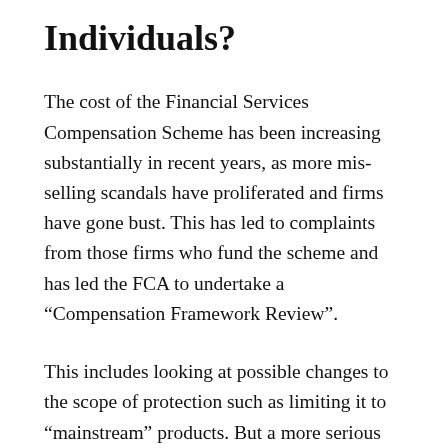Individuals?
The cost of the Financial Services Compensation Scheme has been increasing substantially in recent years, as more mis-selling scandals have proliferated and firms have gone bust. This has led to complaints from those firms who fund the scheme and has led the FCA to undertake a “Compensation Framework Review”.
This includes looking at possible changes to the scope of protection such as limiting it to “mainstream” products. But a more serious proposal is that High Net Worth or Sophisticated Investors be excluded from